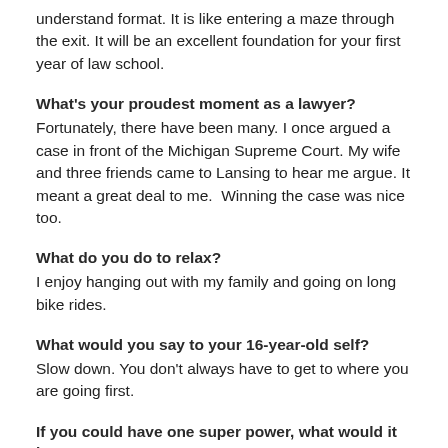understand format. It is like entering a maze through the exit. It will be an excellent foundation for your first year of law school.
What's your proudest moment as a lawyer?
Fortunately, there have been many. I once argued a case in front of the Michigan Supreme Court. My wife and three friends came to Lansing to hear me argue. It meant a great deal to me. Winning the case was nice too.
What do you do to relax?
I enjoy hanging out with my family and going on long bike rides.
What would you say to your 16-year-old self?
Slow down. You don't always have to get to where you are going first.
If you could have one super power, what would it be?